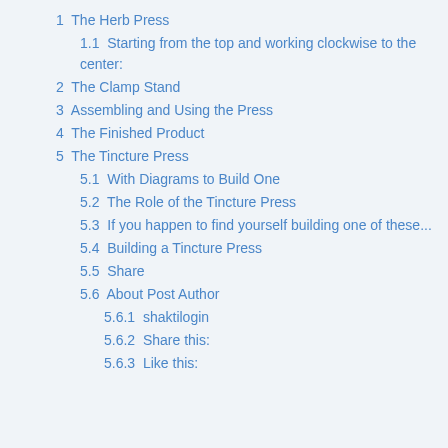1  The Herb Press
1.1  Starting from the top and working clockwise to the center:
2  The Clamp Stand
3  Assembling and Using the Press
4  The Finished Product
5  The Tincture Press
5.1  With Diagrams to Build One
5.2  The Role of the Tincture Press
5.3  If you happen to find yourself building one of these...
5.4  Building a Tincture Press
5.5  Share
5.6  About Post Author
5.6.1  shaktilogin
5.6.2  Share this:
5.6.3  Like this: